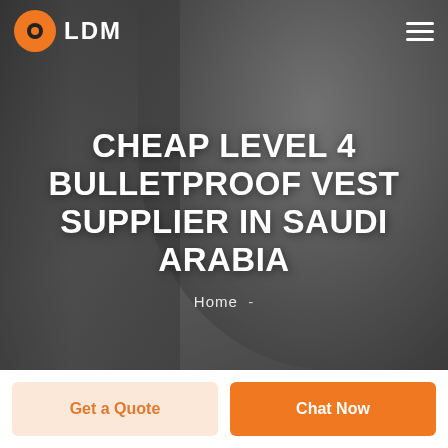[Figure (photo): Hero banner with dark/grayscale background photo of a smiling man in a suit, with a navigation bar overlay at the top showing the LDM logo and hamburger menu]
CHEAP LEVEL 4 BULLETPROOF VEST SUPPLIER IN SAUDI ARABIA
Home  -
Get a Quote
Chat Now